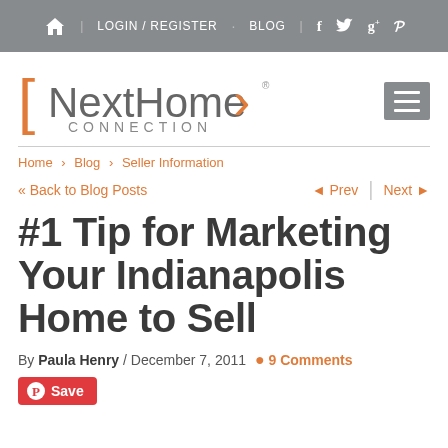Home icon | LOGIN / REGISTER · BLOG | Facebook | Twitter | Google+ | Pinterest
[Figure (logo): NextHome Connection logo with orange bracket and arrow, gray text]
Home > Blog > Seller Information
<< Back to Blog Posts   ◄ Prev | Next ►
#1 Tip for Marketing Your Indianapolis Home to Sell
By Paula Henry / December 7, 2011  💬 9 Comments
Save